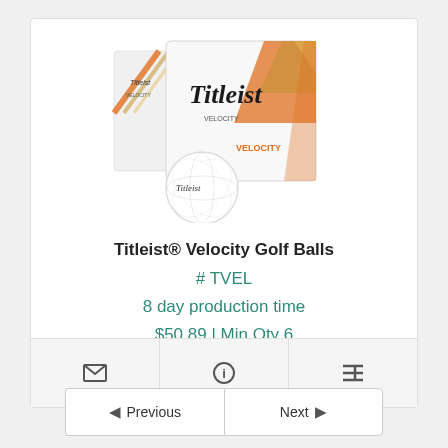[Figure (photo): Titleist Velocity Golf Balls product image showing two white boxes with orange and gold geometric design and a golf ball in front]
Titleist® Velocity Golf Balls
# TVEL
8 day production time
$50.89 | Min Qty 6